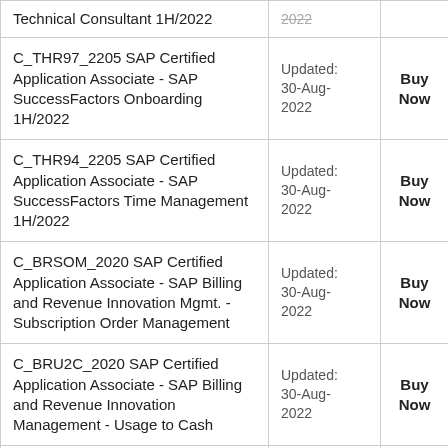| Certification | Updated | Action |
| --- | --- | --- |
| Technical Consultant 1H/2022 | 2022 |  |
| C_THR97_2205 SAP Certified Application Associate - SAP SuccessFactors Onboarding 1H/2022 | Updated: 30-Aug-2022 | Buy Now |
| C_THR94_2205 SAP Certified Application Associate - SAP SuccessFactors Time Management 1H/2022 | Updated: 30-Aug-2022 | Buy Now |
| C_BRSOM_2020 SAP Certified Application Associate - SAP Billing and Revenue Innovation Mgmt. - Subscription Order Management | Updated: 30-Aug-2022 | Buy Now |
| C_BRU2C_2020 SAP Certified Application Associate - SAP Billing and Revenue Innovation Management - Usage to Cash | Updated: 30-Aug-2022 | Buy Now |
| C_S4CSV_2202 SAP Certified Application Associate - SAP S/4HANA Cloud (public) - Service... | Updated: 30-Aug- | Available |